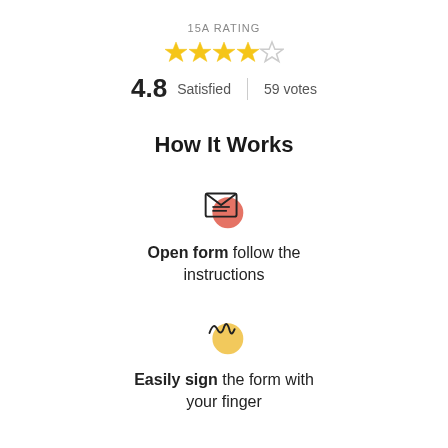15A RATING
[Figure (other): Star rating: 4 filled gold stars and 1 empty star]
4.8 Satisfied | 59 votes
How It Works
[Figure (illustration): Icon of an open envelope with document lines and a red circle accent]
Open form follow the instructions
[Figure (illustration): Icon of a handwritten signature with a yellow circle accent]
Easily sign the form with your finger